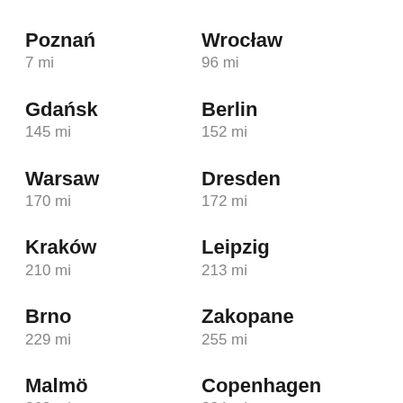Poznań
7 mi
Wrocław
96 mi
Gdańsk
145 mi
Berlin
152 mi
Warsaw
170 mi
Dresden
172 mi
Kraków
210 mi
Leipzig
213 mi
Brno
229 mi
Zakopane
255 mi
Malmö
269 mi
Copenhagen
284 mi